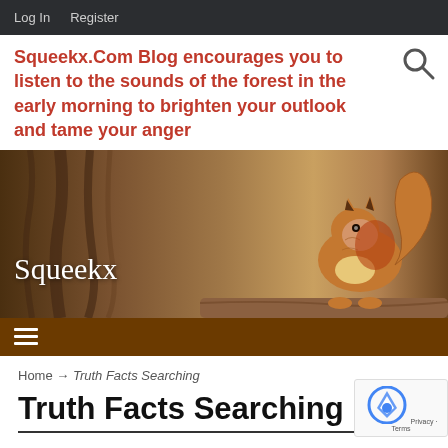Log In   Register
Squeekx.Com Blog encourages you to listen to the sounds of the forest in the early morning to brighten your outlook and tame your anger
[Figure (photo): Banner image of a red squirrel sitting on a branch against a tree bark background, with 'Squeekx' text overlay in white serif font]
≡ (hamburger menu icon)
Home → Truth Facts Searching
Truth Facts Searching